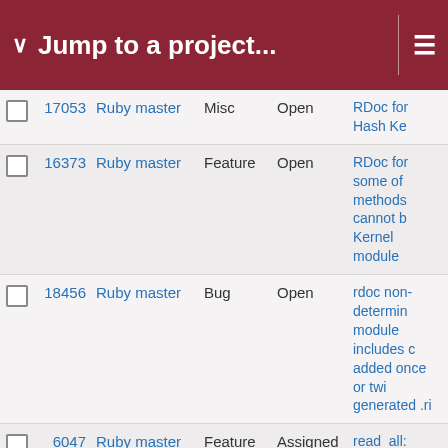Jump to a project...
|  | # | Project | Type | Status | Description |
| --- | --- | --- | --- | --- | --- |
|  | 17053 | Ruby master | Misc | Open | RDoc for Hash Ke... |
|  | 16373 | Ruby master | Feature | Open | RDoc for some of methods cannot b... Kernel module |
|  | 18456 | Ruby master | Bug | Open | rdoc non-determin module includes c... added once or twi... generated .ri |
|  | 6047 | Ruby master | Feature | Assigned | read_all: Grow bu... exponentially in ge... |
|  | 7859 | Ruby master | Bug | Assigned | Readline: Incorrec... key behavior in vi_editing_mode i... with Readline 6.2 |
|  | 14125 | Ruby master | Feature | Open | Readline Module (... Add support for ^C... keybinding? |
|  | 7488 | Ruby master | Feature | Assigned | Receiving object_... creation probes |
|  | 1644 | Ruby master | Feature | Assigned | recv on inherited s... wrapped in TCPSo... not read data, on ... |